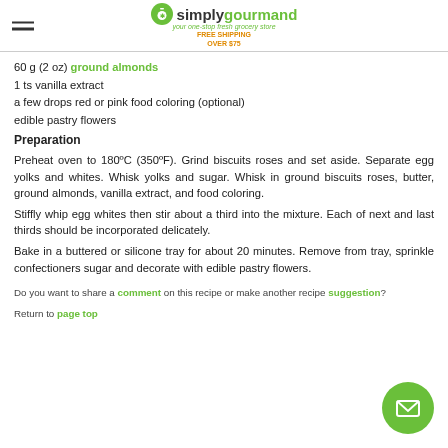simplygourmand — your one-stop fresh grocery store — FREE SHIPPING OVER $75
60 g (2 oz) ground almonds
1 ts vanilla extract
a few drops red or pink food coloring (optional)
edible pastry flowers
Preparation
Preheat oven to 180ºC (350ºF). Grind biscuits roses and set aside. Separate egg yolks and whites. Whisk yolks and sugar. Whisk in ground biscuits roses, butter, ground almonds, vanilla extract, and food coloring.
Stiffly whip egg whites then stir about a third into the mixture. Each of next and last thirds should be incorporated delicately.
Bake in a buttered or silicone tray for about 20 minutes. Remove from tray, sprinkle confectioners sugar and decorate with edible pastry flowers.
Do you want to share a comment on this recipe or make another recipe suggestion?
Return to page top